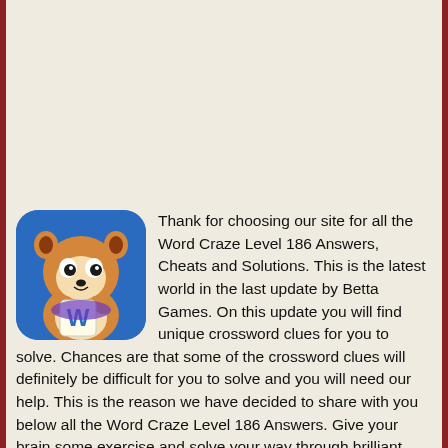[Figure (illustration): Word Craze game app icon — cartoon fox/raccoon character holding a letter W tile on a blue rounded-square background]
Thank for choosing our site for all the Word Craze Level 186 Answers, Cheats and Solutions. This is the latest world in the last update by Betta Games. On this update you will find unique crossword clues for you to solve. Chances are that some of the crossword clues will definitely be difficult for you to solve and you will need our help. This is the reason we have decided to share with you below all the Word Craze Level 186 Answers. Give your brain some exercise and solve your way through brilliant crosswords published every day! You will be redirected to the appropriate game level after you click any of the crossword